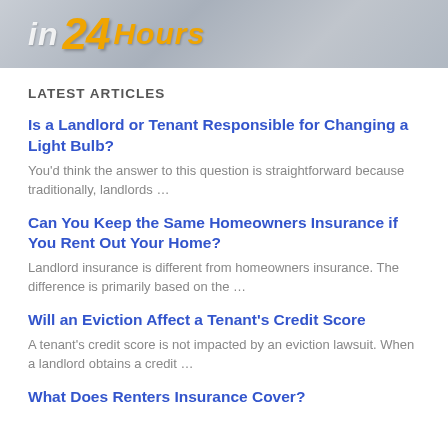[Figure (illustration): Website banner header with text 'in 24 Hours' on a grey gradient background, with '24' and 'Hours' in orange italic and 'in' in white italic]
LATEST ARTICLES
Is a Landlord or Tenant Responsible for Changing a Light Bulb?
You'd think the answer to this question is straightforward because traditionally, landlords …
Can You Keep the Same Homeowners Insurance if You Rent Out Your Home?
Landlord insurance is different from homeowners insurance. The difference is primarily based on the …
Will an Eviction Affect a Tenant's Credit Score
A tenant's credit score is not impacted by an eviction lawsuit. When a landlord obtains a credit …
What Does Renters Insurance Cover?